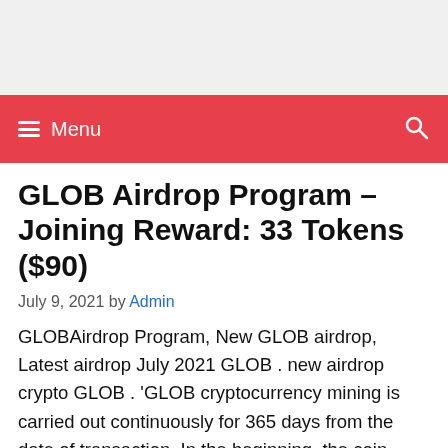≡ Menu
GLOB Airdrop Program – Joining Reward: 33 Tokens ($90)
July 9, 2021 by Admin
GLOBAirdrop Program, New GLOB airdrop, Latest airdrop July 2021 GLOB . new airdrop crypto GLOB . 'GLOB cryptocurrency mining is carried out continuously for 365 days from the date of transaction. In the beginning, the coin mining rate is minimal, then it increases exponentially, reaching its maximum value on